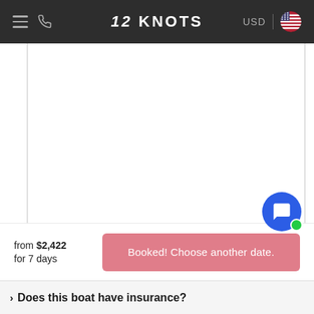12 KNOTS  USD
[Figure (screenshot): Large white empty content area, likely a boat/listing image area]
from $2,422
for 7 days
Booked! Choose another date.
> Does this boat have insurance?